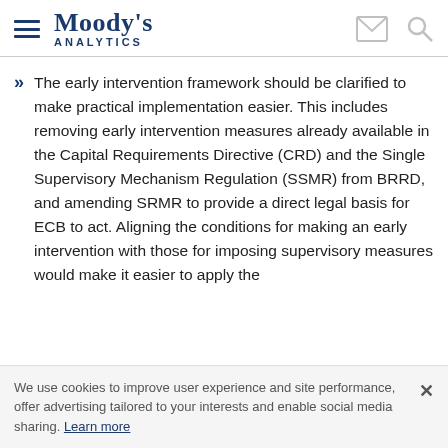Moody's Analytics
The early intervention framework should be clarified to make practical implementation easier. This includes removing early intervention measures already available in the Capital Requirements Directive (CRD) and the Single Supervisory Mechanism Regulation (SSMR) from BRRD, and amending SRMR to provide a direct legal basis for ECB to act. Aligning the conditions for making an early intervention with those for imposing supervisory measures would make it easier to apply the
We use cookies to improve user experience and site performance, offer advertising tailored to your interests and enable social media sharing. Learn more